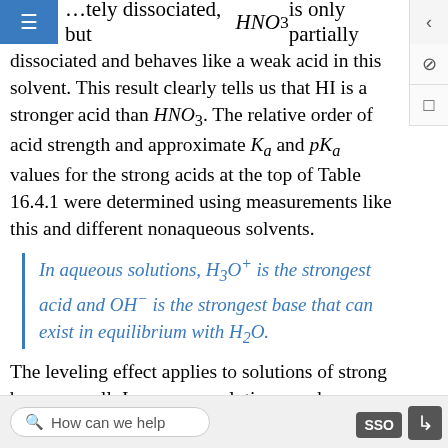...tely dissociated, but HNO3 is only partially dissociated and behaves like a weak acid in this solvent. This result clearly tells us that HI is a stronger acid than HNO3. The relative order of acid strength and approximate Ka and pKa values for the strong acids at the top of Table 16.4.1 were determined using measurements like this and different nonaqueous solvents.
In aqueous solutions, H3O+ is the strongest acid and OH− is the strongest base that can exist in equilibrium with H2O.
The leveling effect applies to solutions of strong bases as well: In aqueous solution, any base stronger than
How can we help   SSO